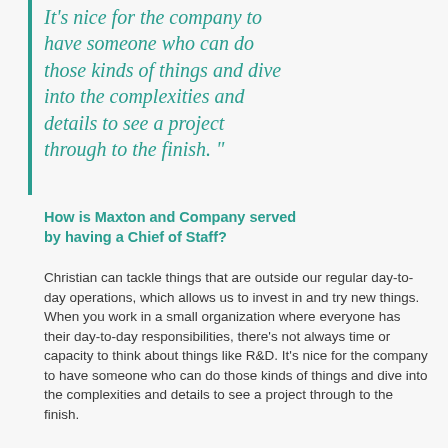It's nice for the company to have someone who can do those kinds of things and dive into the complexities and details to see a project through to the finish."
How is Maxton and Company served by having a Chief of Staff?
Christian can tackle things that are outside our regular day-to-day operations, which allows us to invest in and try new things. When you work in a small organization where everyone has their day-to-day responsibilities, there's not always time or capacity to think about things like R&D. It's nice for the company to have someone who can do those kinds of things and dive into the complexities and details to see a project through to the finish.